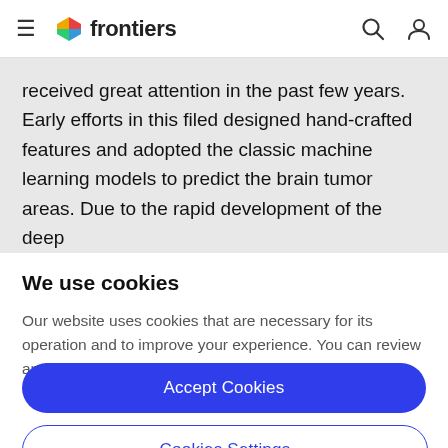frontiers
received great attention in the past few years. Early efforts in this filed designed hand-crafted features and adopted the classic machine learning models to predict the brain tumor areas. Due to the rapid development of the deep
We use cookies
Our website uses cookies that are necessary for its operation and to improve your experience. You can review and control your cookies by clicking on "Accept All" or on "Cookies Settings".
Accept Cookies
Cookies Settings